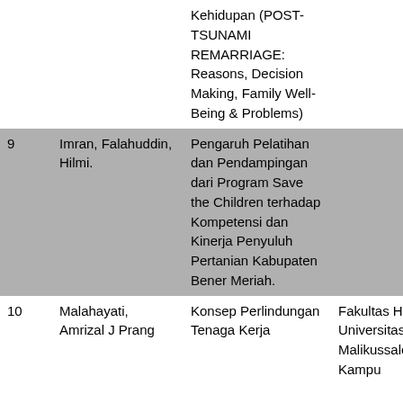| No | Author | Title | Institution |
| --- | --- | --- | --- |
|  |  | Kehidupan (POST-TSUNAMI REMARRIAGE: Reasons, Decision Making, Family Well-Being & Problems) |  |
| 9 | Imran, Falahuddin, Hilmi. | Pengaruh Pelatihan dan Pendampingan dari Program Save the Children terhadap Kompetensi dan Kinerja Penyuluh Pertanian Kabupaten Bener Meriah. |  |
| 10 | Malahayati, Amrizal J Prang | Konsep Perlindungan Tenaga Kerja | Fakultas Hukum Universitas Malikussaleh, Kampu |